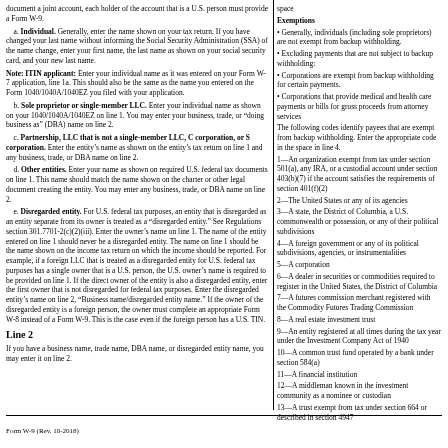document a joint account, each holder of the account that is a U.S. person must provide a Form W-9.
a. Individual. Generally, enter the name shown on your tax return. If you have changed your last name without informing the Social Security Administration (SSA) of the name change, enter your first name, the last name as shown on your social security card, and your new last name.
Note: ITIN applicant: Enter your individual name as it was entered on your Form W-7 application, line 1a. This should also be the same as the name you entered on the Form 1040/1040A/1040EZ you filed with your application.
b. Sole proprietor or single-member LLC. Enter your individual name as shown on your 1040/1040A/1040EZ on line 1. You may enter your business, trade, or "doing business as" (DBA) name on line 2.
c. Partnership, LLC that is not a single-member LLC, C corporation, or S corporation. Enter the entity's name as shown on the entity's tax return on line 1 and any business, trade, or DBA name on line 2.
d. Other entities. Enter your name as shown on required U.S. federal tax documents on line 1. This name should match the name shown on the charter or other legal document creating the entity. You may enter any business, trade, or DBA name on line 2.
e. Disregarded entity. For U.S. federal tax purposes, an entity that is disregarded as an entity separate from its owner is treated as a "disregarded entity." See Regulations section 301.7701-2(c)(2)(iii). Enter the owner's name on line 1. The name of the entity entered on line 1 should never be a disregarded entity. The name on line 1 should be the name shown on the income tax return on which the income should be reported. For example, if a foreign LLC that is treated as a disregarded entity for U.S. federal tax purposes has a single owner that is a U.S. person, the U.S. owner's name is required to be provided on line 1. If the direct owner of the entity is also a disregarded entity, enter the first owner that is not disregarded for federal tax purposes. Enter the disregarded entity's name on line 2, "Business name/disregarded entity name." If the owner of the disregarded entity is a foreign person, the owner must complete an appropriate Form W-8 instead of a Form W-9. This is the case even if the foreign person has a U.S. TIN.
Line 2
If you have a business name, trade name, DBA name, or disregarded entity name, you may enter it on line 2.
space
Exemptions
• Generally, individuals (including sole proprietors) are not exempt from backup withholding.
• Exempt payees and payments
• Corporations are exempt payees for most types of payments
• Corporations that provide medical and health care services or that are billing agents
The following codes identify payees that are exempt from backup withholding. Enter the appropriate code in the space in line 4.
1—An organization exempt from tax under section 501(a), any IRA, or a custodial account under section 403(b)(7) if the account satisfies the requirements of section 401(f)(2)
2—The United States or any of its agencies or instrumentalities
3—A state, the District of Columbia, a U.S. commonwealth or possession, or any of their political subdivisions or instrumentalities
4—A foreign government or any of its political subdivisions, agencies, or instrumentalities
5—A corporation
6—A dealer in securities or commodities required to register in the United States, the District of Columbia, or a U.S. possession
7—A futures commission merchant registered with the Commodity Futures Trading Commission
8—A real estate investment trust
9—An entity registered at all times during the tax year under the Investment Company Act of 1940
10—A common trust fund operated by a bank under section 584(a)
11—A financial institution
12—A middleman known in the investment community as a nominee or custodian
13—A trust exempt from tax under section 664 or described in section 4947
Form W-9 (Rev. 10-2018)